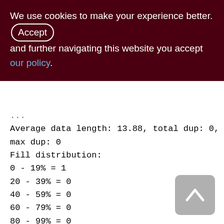We use cookies to make your experience better. By accepting and further navigating this website you accept our policy.
Average data length: 13.88, total dup: 0,
max dup: 0
Fill distribution:
0 - 19% = 1
20 - 39% = 0
40 - 59% = 0
60 - 79% = 0
80 - 99% = 0

Index PK_AGENTS (0)
Depth: 1, leaf buckets: 1, nodes: 50
Average data length: 7.10, total dup: 0,